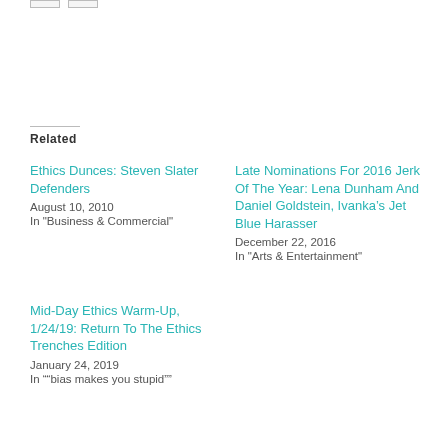Related
Ethics Dunces: Steven Slater Defenders
August 10, 2010
In "Business & Commercial"
Late Nominations For 2016 Jerk Of The Year: Lena Dunham And Daniel Goldstein, Ivanka’s Jet Blue Harasser
December 22, 2016
In "Arts & Entertainment"
Mid-Day Ethics Warm-Up, 1/24/19: Return To The Ethics Trenches Edition
January 24, 2019
In ""bias makes you stupid""